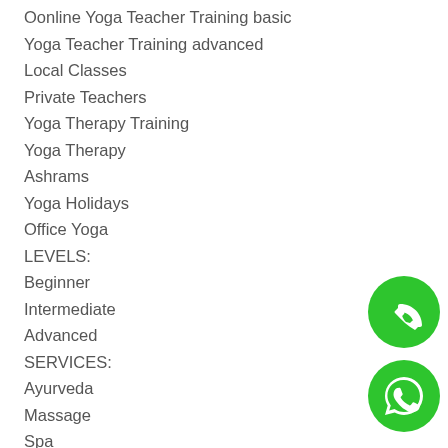Oonline Yoga Teacher Training basic
Yoga Teacher Training advanced
Local Classes
Private Teachers
Yoga Therapy Training
Yoga Therapy
Ashrams
Yoga Holidays
Office Yoga
LEVELS:
Beginner
Intermediate
Advanced
SERVICES:
Ayurveda
Massage
Spa
[Figure (illustration): Green circular phone call button icon]
[Figure (illustration): Green circular WhatsApp icon]